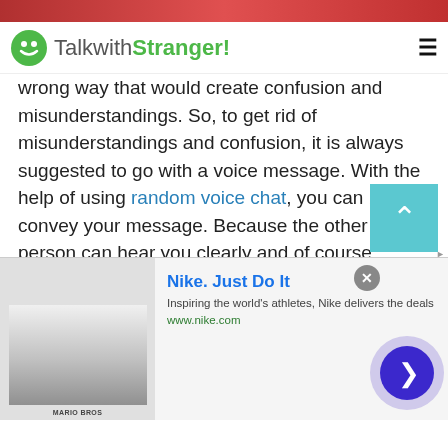TalkwithStranger!
wrong way that would create confusion and misunderstandings. So, to get rid of misunderstandings and confusion, it is always suggested to go with a voice message. With the help of using random voice chat, you can better convey your message. Because the other person can hear you clearly and of course, understand what you are trying to say.
Voice call
Do you want to talk to strangers in Brunei
[Figure (screenshot): Nike advertisement banner with logo image, 'Nike. Just Do It' headline, tagline 'Inspiring the world's athletes, Nike delivers the deals', URL www.nike.com, close button, and navigation arrow button]